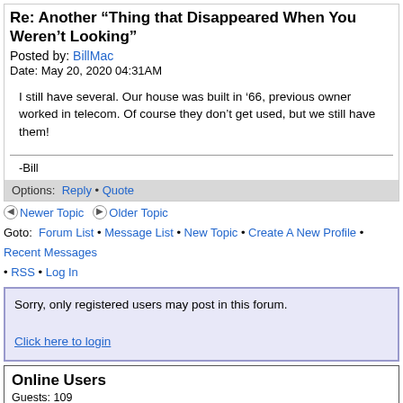Re: Another "Thing that Disappeared When You Weren't Looking"
Posted by: BillMac
Date: May 20, 2020 04:31AM
I still have several. Our house was built in ’66, previous owner worked in telecom. Of course they don’t get used, but we still have them!
-Bill
Options:  Reply • Quote
Newer Topic   Older Topic
Goto:  Forum List • Message List • New Topic • Create A New Profile • Recent Messages • RSS • Log In
Sorry, only registered users may post in this forum.

Click here to login
Online Users
Guests: 109
Record Number of Users: 186 on February 20, 2020
Record Number of Guests: 5122 on October 03, 2020